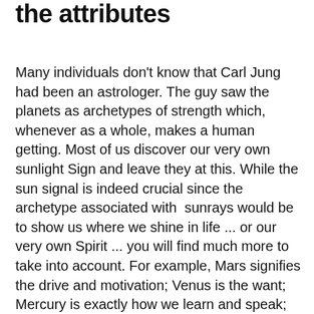the attributes
Many individuals don't know that Carl Jung had been an astrologer. The guy saw the planets as archetypes of strength which, whenever as a whole, makes a human getting. Most of us discover our very own sunlight Sign and leave they at this. While the sun signal is indeed crucial since the archetype associated with sunrays would be to show us where we shine in life ... or our very own Spirit ... you will find much more to take into account. For example, Mars signifies the drive and motivation; Venus is the want; Mercury is exactly how we learn and speak; The Moon means our very own past and our feelings; Jupiter reveals all of us where in our lives we desire to increase and develop ... etc.
These planetary archetypes dont are employed in separation – they are all element of an entire and